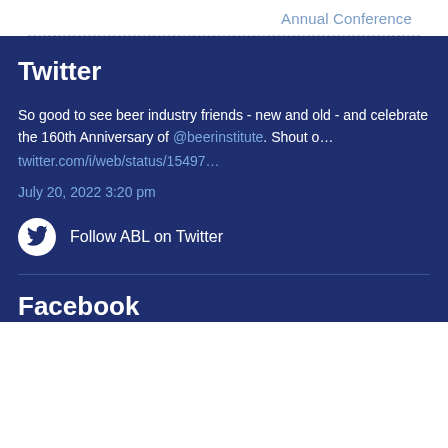Annual Conference
Twitter
So good to see beer industry friends - new and old - and celebrate the 160th Anniversary of @beerinstitute. Shout o…
twitter.com/i/web/status/15497…
July 20, 2022 3:20 pm
Follow ABL on Twitter
Facebook